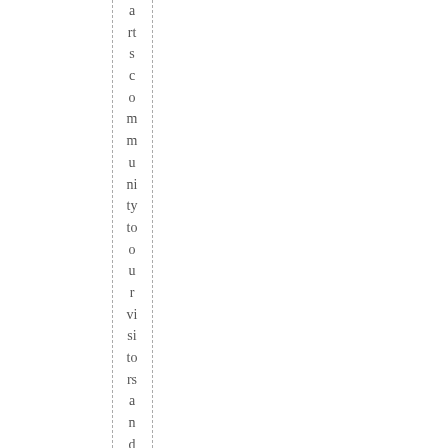arts community to our visitors and there rest